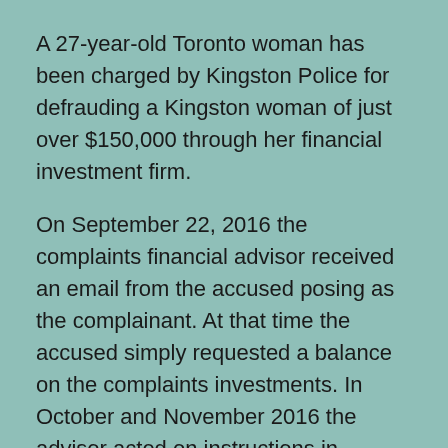A 27-year-old Toronto woman has been charged by Kingston Police for defrauding a Kingston woman of just over $150,000 through her financial investment firm.
On September 22, 2016 the complaints financial advisor received an email from the accused posing as the complainant. At that time the accused simply requested a balance on the complaints investments. In October and November 2016 the advisor acted on instructions in additional emails sent by the accused posing as the complaint, and subsequently transferred over $150,000 to a